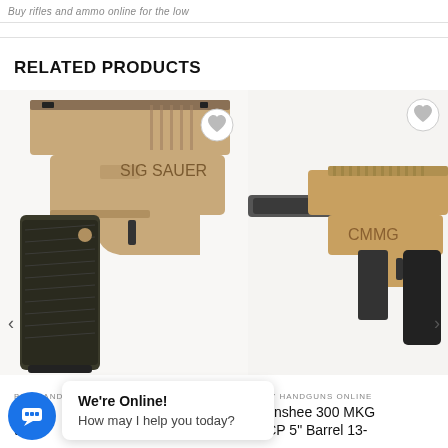Buy rifles and ammo online for the low
RELATED PRODUCTS
[Figure (photo): Close-up photo of a tan/FDE Sig Sauer P320 pistol with black patterned grip module, showing the slide, trigger, and frame]
[Figure (photo): Photo of a tan/FDE CMMG Banshee 300 MKG AR-style pistol with black grip and suppressor/barrel extension]
BUY HANDGUNS ONLINE
r P3
to
BUY HANDGUNS ONLINE
Banshee 300 MKG
ACP 5" Barrel 13-
We're Online!
How may I help you today?